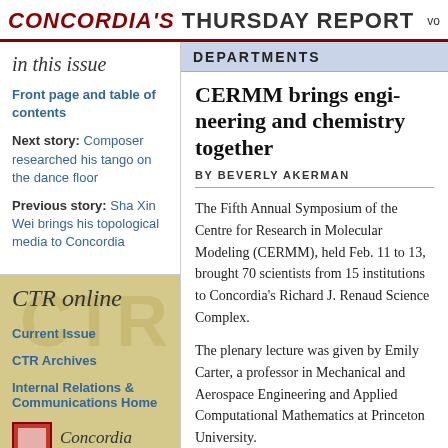CONCORDIA'S THURSDAY REPORT
in this issue
Front page and table of contents
Next story: Composer researched his tango on the dance floor
Previous story: Sha Xin Wei brings his topological media to Concordia
CTR online
Current Issue
CTR Archives
Internal Relations & Communications Home
DEPARTMENTS
CERMM brings engineering and chemistry together
BY BEVERLY AKERMAN
The Fifth Annual Symposium of the Centre for Research in Molecular Modeling (CERMM), held Feb. 11 to 13, brought 70 scientists from 15 institutions to Concordia's Richard J. Renaud Science Complex.
The plenary lecture was given by Emily Carter, a professor in Mechanical and Aerospace Engineering and Applied Computational Mathematics at Princeton University.